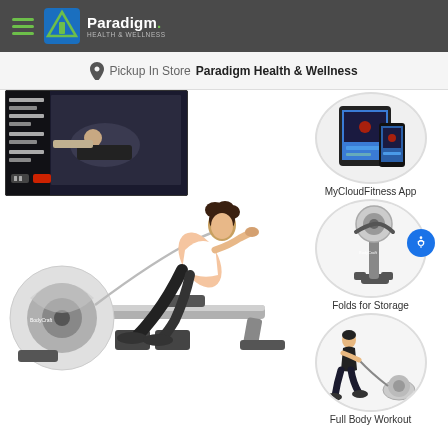Paradigm Health & Wellness
Pickup In Store  Paradigm Health & Wellness
[Figure (photo): Video thumbnail showing a person using a rowing machine on a TV screen, with workout stats displayed on the left side]
[Figure (photo): Woman using a rowing machine (BodyCraft branded), seated and pulling the cable handles, wearing white top and black leggings]
[Figure (photo): MyCloudFitness App - tablet and phone showing fitness app interface]
MyCloudFitness App
[Figure (photo): Rowing machine folded upright for compact storage]
Folds for Storage
[Figure (photo): Woman performing full body workout with a rowing machine cable]
Full Body Workout